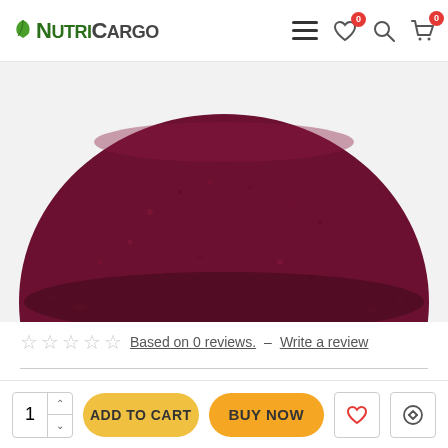NutriCargo
[Figure (photo): Close-up photo of a dark maroon/burgundy powder (likely beet root or berry powder) piled in a rounded mound shape against a white background.]
☆ ☆ ☆ ☆ ☆ Based on 0 reviews. – Write a review
ADD TO CART  BUY NOW